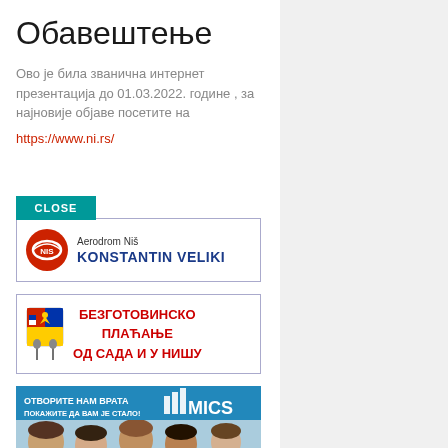Обавештење
Ово је била званична интернет презентација  до 01.03.2022. године , за најновије објаве посетите на https://www.ni.rs/
[Figure (screenshot): CLOSE button in teal/cyan color]
[Figure (screenshot): Aerodrom Niš KONSTANTIN VELIKI banner with logo]
[Figure (screenshot): БЕЗГОТОВИНСКО ПЛАЋАЊЕ ОД САДА И У НИШУ banner with coat of arms]
[Figure (photo): ОТВОРИТЕ НАМ ВРАТА / ПОКАЖИТЕ ДА ВАМ ЈЕ СТАЛО! MICS banner with children photo]